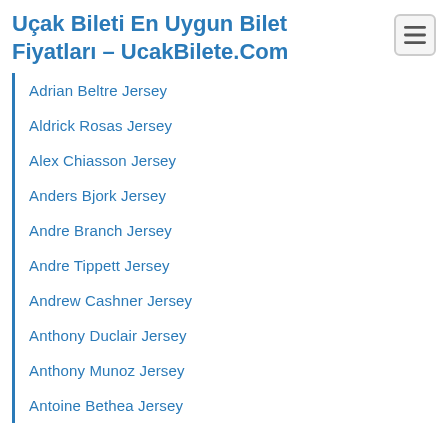Uçak Bileti En Uygun Bilet Fiyatları – UcakBilete.Com
Adrian Beltre Jersey
Aldrick Rosas Jersey
Alex Chiasson Jersey
Anders Bjork Jersey
Andre Branch Jersey
Andre Tippett Jersey
Andrew Cashner Jersey
Anthony Duclair Jersey
Anthony Munoz Jersey
Antoine Bethea Jersey